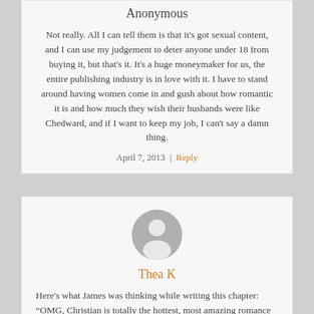Anonymous
Not really. All I can tell them is that it’s got sexual content, and I can use my judgement to deter anyone under 18 from buying it, but that’s it. It’s a huge moneymaker for us, the entire publishing industry is in love with it. I have to stand around having women come in and gush about how romantic it is and how much they wish their husbands were like Chedward, and if I want to keep my job, I can’t say a damn thing.
April 7, 2013 | Reply
[Figure (illustration): Generic user avatar icon - grey circle with white silhouette of a person]
Thea K
Here’s what James was thinking while writing this chapter: “OMG, Christian is totally the hottest, most amazing romance hero ever, ‘cause he always cares about Ana’s orgasms. I am romance-genius! Te-hee.” NO! Fuck you, James.